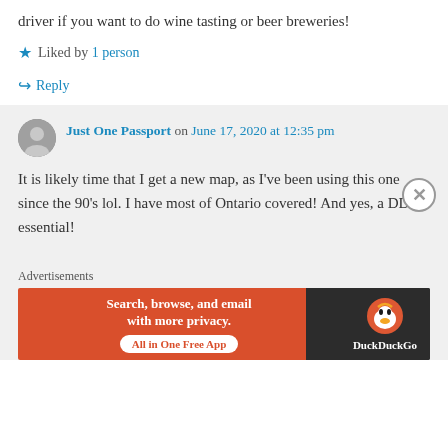driver if you want to do wine tasting or beer breweries!
★ Liked by 1 person
↪ Reply
Just One Passport on June 17, 2020 at 12:35 pm
It is likely time that I get a new map, as I've been using this one since the 90's lol. I have most of Ontario covered! And yes, a DD is essential!
Advertisements
[Figure (screenshot): DuckDuckGo advertisement banner: orange background on left with text 'Search, browse, and email with more privacy. All in One Free App', dark background on right with DuckDuckGo logo and duck icon.]